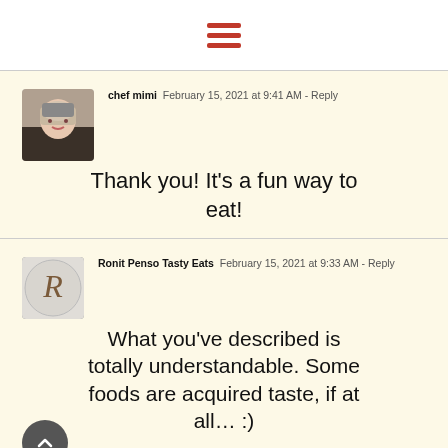[Figure (other): Hamburger menu icon with three red horizontal lines]
chef mimi  February 15, 2021 at 9:41 AM - Reply
Thank you! It's a fun way to eat!
Ronit Penso Tasty Eats  February 15, 2021 at 9:33 AM - Reply
What you've described is totally understandable. Some foods are acquired taste, if at all… :)